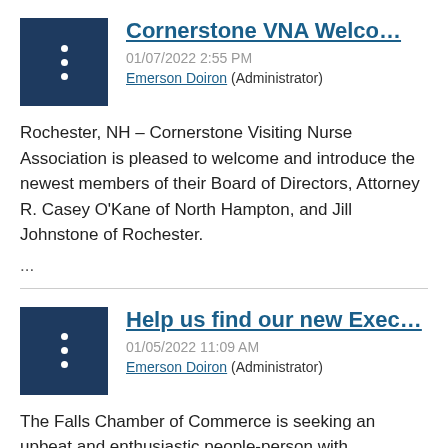Cornerstone VNA Welco…
01/07/2022 2:55 PM
Emerson Doiron (Administrator)
Rochester, NH – Cornerstone Visiting Nurse Association is pleased to welcome and introduce the newest members of their Board of Directors, Attorney R. Casey O'Kane of North Hampton, and Jill Johnstone of Rochester.
...
Help us find our new Exec…
01/05/2022 11:09 AM
Emerson Doiron (Administrator)
The Falls Chamber of Commerce is seeking an upbeat and enthusiastic people-person with